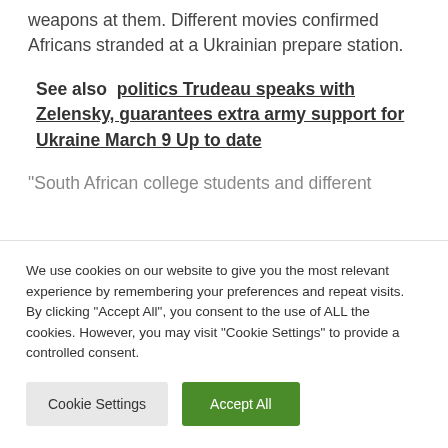weapons at them. Different movies confirmed Africans stranded at a Ukrainian prepare station.
See also  politics Trudeau speaks with Zelensky, guarantees extra army support for Ukraine March 9 Up to date
“South African college students and different
We use cookies on our website to give you the most relevant experience by remembering your preferences and repeat visits. By clicking “Accept All”, you consent to the use of ALL the cookies. However, you may visit “Cookie Settings” to provide a controlled consent.